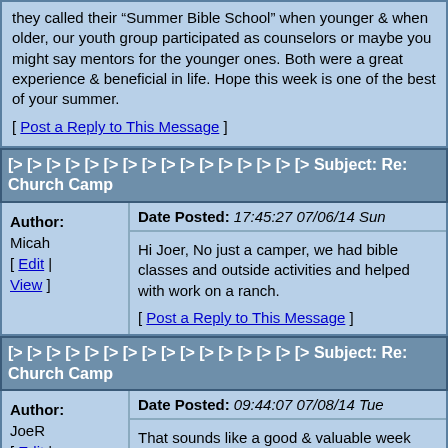they called their "Summer Bible School" when younger & when older, our youth group participated as counselors or maybe you might say mentors for the younger ones. Both were a great experience & beneficial in life. Hope this week is one of the best of your summer.
[ Post a Reply to This Message ]
[> [> [> [> [> [> [> [> [> [> [> [> [> [> [> [> Subject: Re: Church Camp
Author: Micah [ Edit | View ]
Date Posted: 17:45:27 07/06/14 Sun
Hi Joer, No just a camper, we had bible classes and outside activities and helped with work on a ranch.
[ Post a Reply to This Message ]
[> [> [> [> [> [> [> [> [> [> [> [> [> [> [> [> Subject: Re: Church Camp
Author: JoeR [ Edit |
Date Posted: 09:44:07 07/08/14 Tue
That sounds like a good & valuable week you had. Were a lot of your best buddies at camp too?